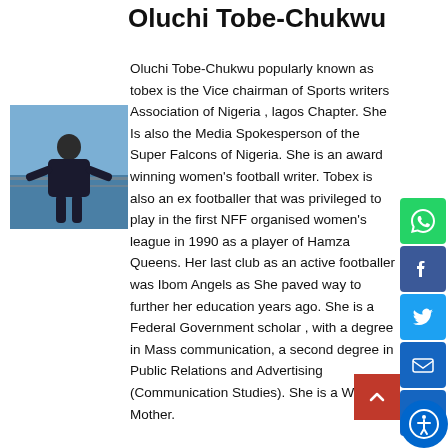Oluchi Tobe-Chukwu
[Figure (photo): Photo of Oluchi Tobe-Chukwu standing outdoors near a waterfront railing, wearing a dark jacket, with blue sky and water in background.]
Oluchi Tobe-Chukwu popularly known as tobex is the Vice chairman of Sports writers Association of Nigeria , lagos Chapter. She Is also the Media Spokesperson of the Super Falcons of Nigeria. She is an award winning women's football writer. Tobex is also an ex footballer that was privileged to play in the first NFF organised women's league in 1990 as a player of Hamza Queens. Her last club as an active footballer was Ibom Angels as She paved way to further her education years ago. She is a Federal Government scholar , with a degree in Mass communication, a second degree in Public Relations and Advertising (Communication Studies). She is a Wife and Mother.